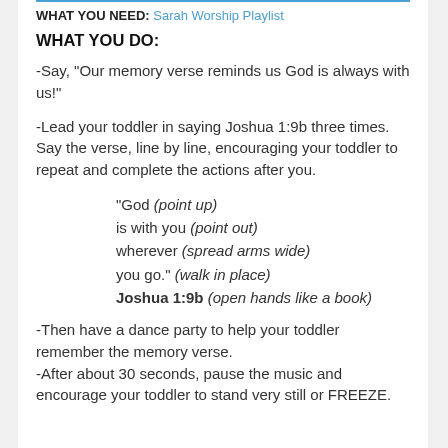WHAT YOU NEED: Sarah Worship Playlist
WHAT YOU DO:
-Say, “Our memory verse reminds us God is always with us!”
-Lead your toddler in saying Joshua 1:9b three times. Say the verse, line by line, encouraging your toddler to repeat and complete the actions after you.
“God (point up)
is with you (point out)
wherever (spread arms wide)
you go.” (walk in place)
Joshua 1:9b (open hands like a book)
-Then have a dance party to help your toddler remember the memory verse.
-After about 30 seconds, pause the music and encourage your toddler to stand very still or FREEZE.